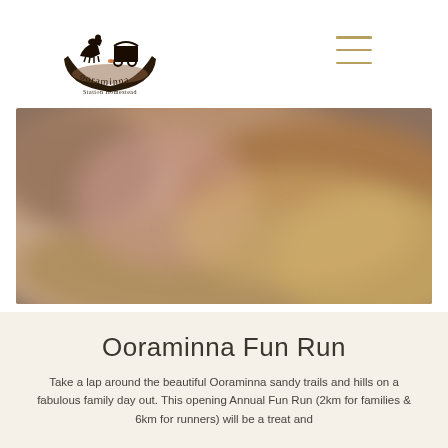[Figure (logo): Ooraminna Station Homestead logo — silhouette of horse, person and wagon inside a boat/crescent shape, with 'ooraminna' text and 'Station Homestead' below in decorative font]
[Figure (other): Hamburger/menu icon with three horizontal golden-tan lines]
[Figure (photo): Blurred outdoor landscape photo showing sandy terrain with warm brown, tan, and muted pink tones — appears to be Australian outback scenery]
Ooraminna Fun Run
Take a lap around the beautiful Ooraminna sandy trails and hills on a fabulous family day out. This opening Annual Fun Run (2km for families & 6km for runners) will be a treat and